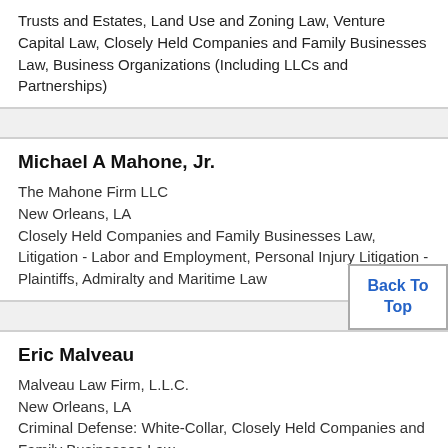Trusts and Estates, Land Use and Zoning Law, Venture Capital Law, Closely Held Companies and Family Businesses Law, Business Organizations (Including LLCs and Partnerships)
Michael A Mahone, Jr.
The Mahone Firm LLC
New Orleans, LA
Closely Held Companies and Family Businesses Law, Litigation - Labor and Employment, Personal Injury Litigation - Plaintiffs, Admiralty and Maritime Law
Eric Malveau
Malveau Law Firm, L.L.C.
New Orleans, LA
Criminal Defense: White-Collar, Closely Held Companies and Family Businesses Law